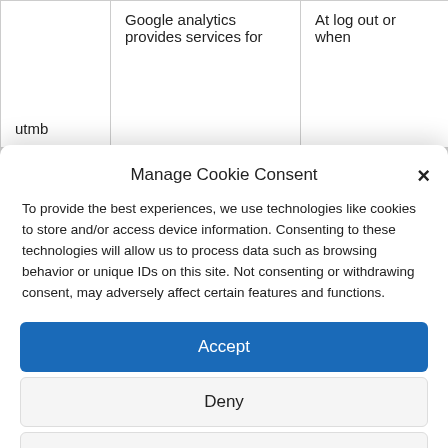| utmb | Google analytics provides services for | At log out or when |
Manage Cookie Consent
To provide the best experiences, we use technologies like cookies to store and/or access device information. Consenting to these technologies will allow us to process data such as browsing behavior or unique IDs on this site. Not consenting or withdrawing consent, may adversely affect certain features and functions.
Accept
Deny
View preferences
Cookies   Privacy Policy